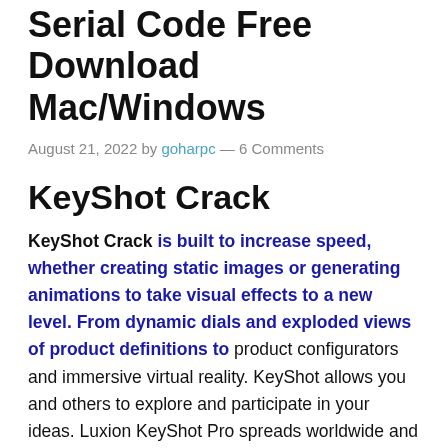KeyShot Crack 11.2.1.4.2 Serial Code Free Download Mac/Windows
August 21, 2022 by goharpc — 6 Comments
KeyShot Crack
KeyShot Crack is built to increase speed, whether creating static images or generating animations to take visual effects to a new level. From dynamic dials and exploded views of product definitions to product configurators and immersive virtual reality. KeyShot allows you and others to explore and participate in your ideas. Luxion KeyShot Pro spreads worldwide and in